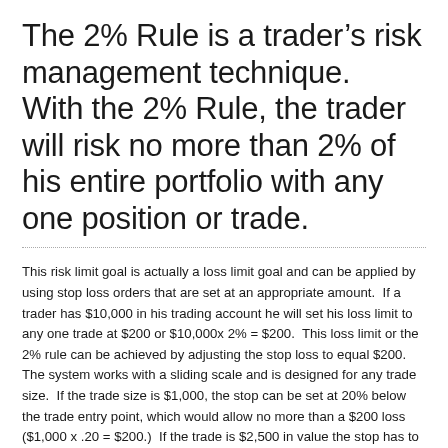The 2% Rule is a trader's risk management technique.  With the 2% Rule, the trader will risk no more than 2% of his entire portfolio with any one position or trade.
This risk limit goal is actually a loss limit goal and can be applied by using stop loss orders that are set at an appropriate amount.  If a trader has $10,000 in his trading account he will set his loss limit to any one trade at $200 or $10,000x 2% = $200.  This loss limit or the 2% rule can be achieved by adjusting the stop loss to equal $200.  The system works with a sliding scale and is designed for any trade size.  If the trade size is $1,000, the stop can be set at 20% below the trade entry point, which would allow no more than a $200 loss ($1,000 x .20 = $200.)  If the trade is $2,500 in value the stop has to be set tighter.  In this case the stop would be set at